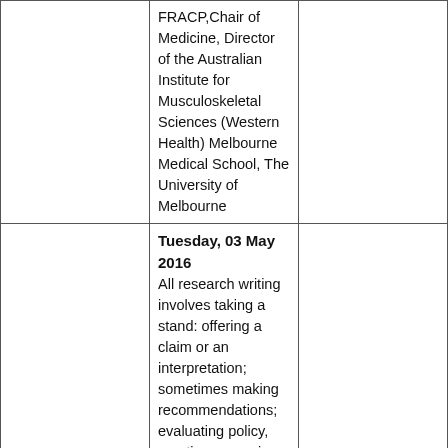|  | FRACP,Chair of Medicine, Director of the Australian Institute for Musculoskeletal Sciences (Western Health) Melbourne Medical School, The University of Melbourne |  |
|  | Tuesday, 03 May 2016
All research writing involves taking a stand: offering a claim or an interpretation; sometimes making recommendations; evaluating policy, practice or previous research. This is a challenge for all academic writers, who need to make a delicate balance between |  |